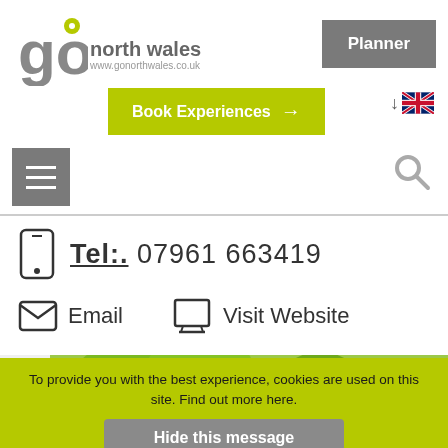[Figure (logo): Go North Wales logo with location pin icon and URL www.gonorthwales.co.uk]
Planner
Book Experiences →
[Figure (illustration): UK flag icon]
[Figure (illustration): Hamburger menu icon (three horizontal lines) on grey background]
[Figure (illustration): Search/magnifying glass icon]
Tel:. 07961 663419
Email
Visit Website
[Figure (photo): Green background with tree/branch silhouette decorative image]
To provide you with the best experience, cookies are used on this site. Find out more here.
Hide this message